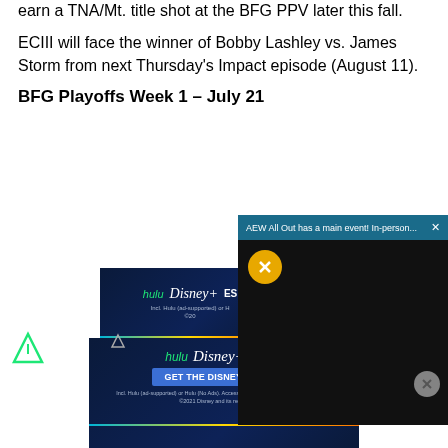earn a TNA/Mt. title shot at the BFG PPV later this fall.
ECIII will face the winner of Bobby Lashley vs. James Storm from next Thursday's Impact episode (August 11).
BFG Playoffs Week 1 – July 21
[Figure (screenshot): AEW All Out popup video player with dark background, mute button, and close button. Header reads 'AEW All Out has a main event! In-person...' with a close X button.]
[Figure (screenshot): Hulu Disney+ ESPN+ advertisement banner partially visible behind popup, showing logos and text 'Incl. Hulu (ad-supported) or H... ©20...']
[Figure (screenshot): Hulu Disney+ ESPN+ GET THE DISNEY BUNDLE advertisement banner at the bottom. Text: Incl. Hulu (ad-supported) or Hulu (No Ads). Access content from each service separately. ©2021 Disney and its related entities]